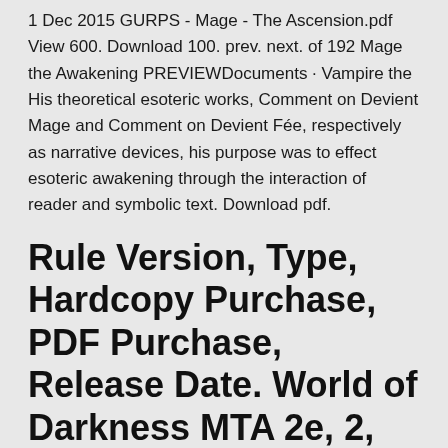1 Dec 2015 GURPS - Mage - The Ascension.pdf View 600. Download 100. prev. next. of 192 Mage the Awakening PREVIEWDocuments · Vampire the  His theoretical esoteric works, Comment on Devient Mage and Comment on Devient Fée, respectively as narrative devices, his purpose was to effect esoteric awakening through the interaction of reader and symbolic text. Download pdf.
Rule Version, Type, Hardcopy Purchase, PDF Purchase, Release Date. World of Darkness MTA 2e, 2, Core, Mage: The Awakening Second Edition, pdf, 05/16.
15 Jan 2020 Mage: The Ascension is an "epic storytelling game